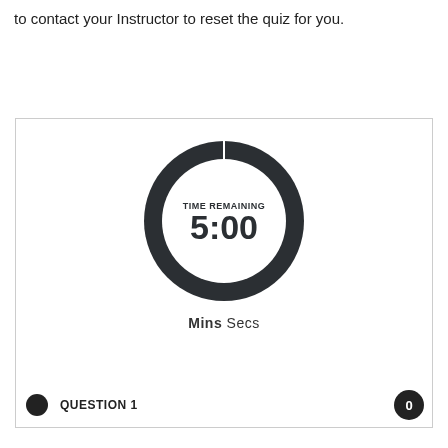to contact your Instructor to reset the quiz for you.
[Figure (screenshot): A quiz timer interface showing a circular clock with 'TIME REMAINING' label and '5:00' displayed inside, with 'Mins Secs' label below, and a 'QUESTION 1' bar at the bottom with a badge showing '0'.]